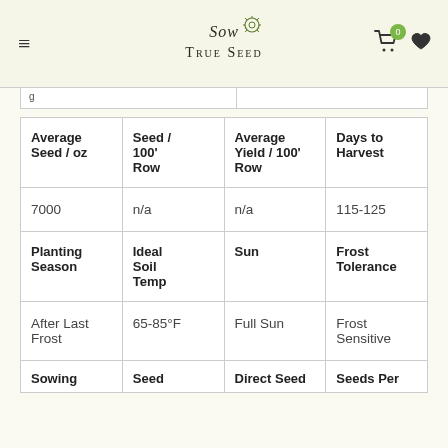Sow True Seed
| Average Seed / oz | Seed / 100' Row | Average Yield / 100' Row | Days to Harvest |
| --- | --- | --- | --- |
| 7000 | n/a | n/a | 115-125 |
| Planting Season | Ideal Soil Temp | Sun | Frost Tolerance |
| After Last Frost | 65-85°F | Full Sun | Frost Sensitive |
| Sowing | Seed | Direct Seed | Seeds Per |